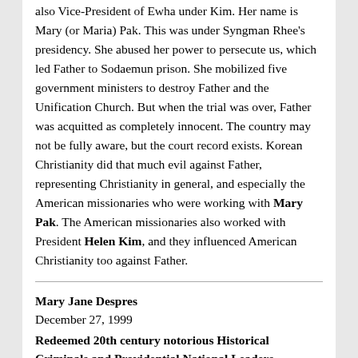also Vice-President of Ewha under Kim. Her name is Mary (or Maria) Pak. This was under Syngman Rhee's presidency. She abused her power to persecute us, which led Father to Sodaemun prison. She mobilized five government ministers to destroy Father and the Unification Church. But when the trial was over, Father was acquitted as completely innocent. The country may not be fully aware, but the court record exists. Korean Christianity did that much evil against Father, representing Christianity in general, and especially the American missionaries who were working with Mary Pak. The American missionaries also worked with President Helen Kim, and they influenced American Christianity too against Father.
Mary Jane Despres
December 27, 1999
Redeemed 20th century notorious Historical Criminals and Providential National Leaders
President of Korea – Syngman Rhee and his wife
President of Ewha University – Hwal-Jan Kim [Helen Kim]